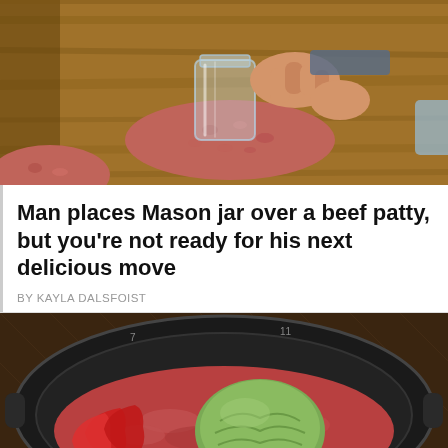[Figure (photo): Hands pressing a Mason jar into a flat beef/ground meat patty on a wooden cutting board, with another ball of ground meat visible at lower left.]
Man places Mason jar over a beef patty, but you're not ready for his next delicious move
BY KAYLA DALSFOIST
[Figure (photo): Overhead view of a black slow cooker/crock pot containing raw ground beef, strips of red bell pepper, and a whole head of cabbage/green vegetable in the center.]
© Cooktop Cove   About Ads   Terms   Privacy   Do Not Sell My Info